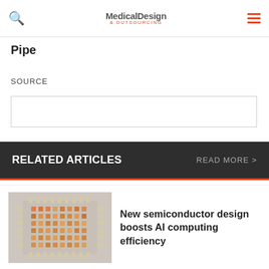Medical Design & Outsourcing
Pipe
SOURCE
RELATED ARTICLES   READ MORE >
[Figure (photo): Semiconductor chip with grid of orange/pink LED-like elements on a circuit substrate]
New semiconductor design boosts AI computing efficiency